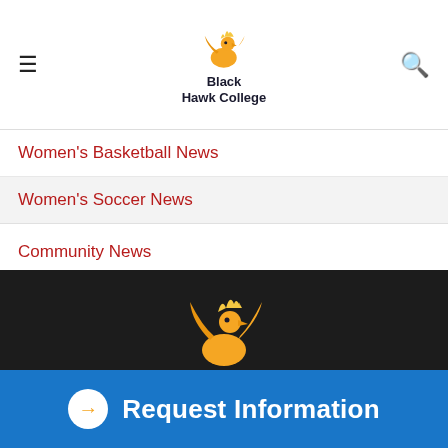Black Hawk College
Women's Basketball News
Women's Soccer News
Community News
Safety Tips
Student Awards & Accomplishments
[Figure (logo): Black Hawk College golden phoenix bird logo on dark background in footer]
Request Information